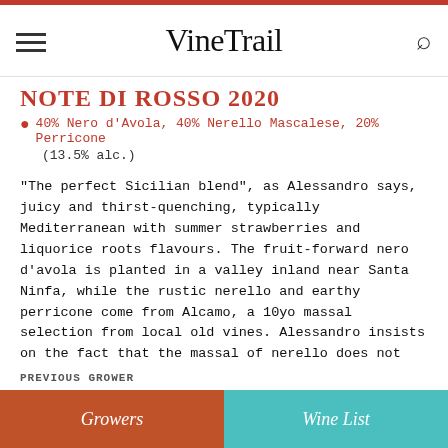VineTrail
NOTE DI ROSSO 2020
40% Nero d'Avola, 40% Nerello Mascalese, 20% Perricone
(13.5% alc.)
"The perfect Sicilian blend", as Alessandro says, juicy and thirst-quenching, typically Mediterranean with summer strawberries and liquorice roots flavours. The fruit-forward nero d'avola is planted in a valley inland near Santa Ninfa, while the rustic nerello and earthy perricone come from Alcamo, a 10yo massal selection from local old vines. Alessandro insists on the fact that the massal of nerello does not come from the Etna, Alcamo's nerello is somehow different and better-suited to the area. Grapes were totally destemmed, a week maceration followed by fermentation and ageing in stainless steel.
PREVIOUS GROWER | Growers | Wine List